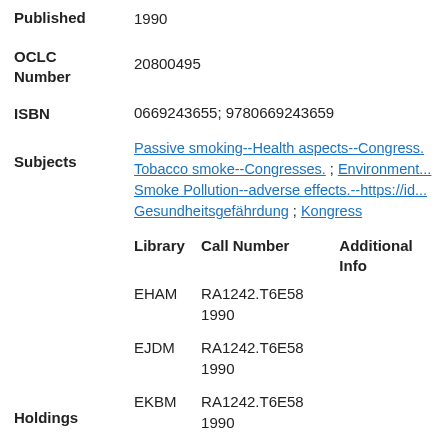Published	1990
OCLC Number	20800495
ISBN	0669243655; 9780669243659
Subjects	Passive smoking--Health aspects--Congress. Tobacco smoke--Congresses. ; Environment... Smoke Pollution--adverse effects.--https://id... Gesundheitsgefährdung ; Kongress
| Library | Call Number | Additional Info |
| --- | --- | --- |
| EHAM | RA1242.T6E58 1990 |  |
| EJDM | RA1242.T6E58 1990 |  |
| EKBM | RA1242.T6E58 1990 |  |
Holdings